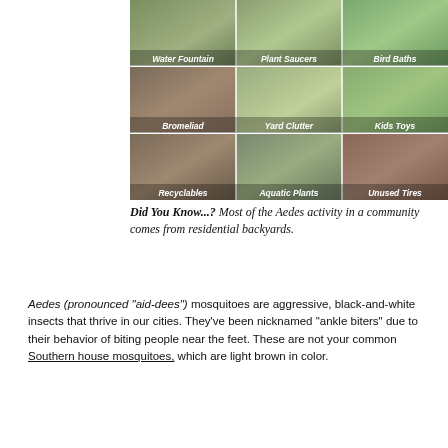[Figure (photo): 3x3 grid of photos showing mosquito breeding sites: Water Fountain, Plant Saucers, Bird Baths, Bromeliad, Yard Clutter, Kids Toys, Recyclables, Aquatic Plants, Unused Tires]
Did You Know...? Most of the Aedes activity in a community comes from residential backyards.
Aedes (pronounced 'aid-dees') mosquitoes are aggressive, black-and-white insects that thrive in our cities. They've been nicknamed 'ankle biters' due to their behavior of biting people near the feet. These are not your common Southern house mosquitoes, which are light brown in color.